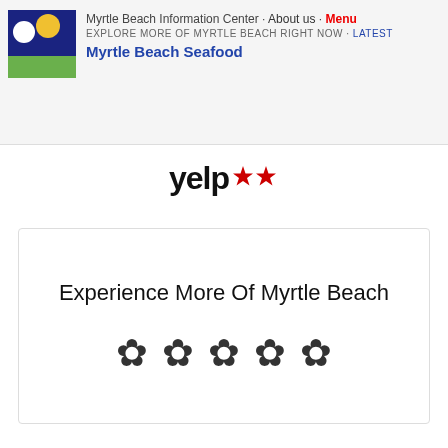Myrtle Beach Information Center · About us · Menu
EXPLORE MORE OF MYRTLE BEACH RIGHT NOW · Latest
Myrtle Beach Seafood
[Figure (logo): Yelp logo in bold black text with two red star icons]
Experience More Of Myrtle Beach
[Figure (illustration): Five decorative flower/asterisk symbols in a row]